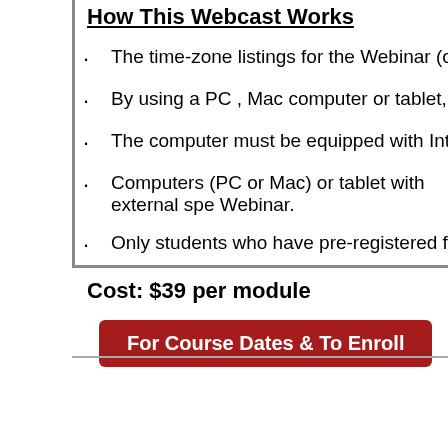How This Webcast Works
The time-zone listings for the Webinar (online live
By using a PC , Mac computer or tablet, students c
The computer must be equipped with Internet acc
Computers (PC or Mac) or tablet with external spe Webinar.
Only students who have pre-registered for this We
Cost: $39 per module
For Course Dates & To Enroll